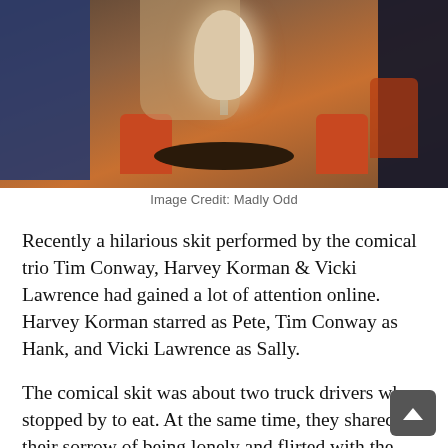[Figure (photo): A restaurant or diner scene showing people seated at a round dark table with orange/red chairs. A white lamp hangs above the table. Persons are partially visible on the left and right edges. Warm orange-brown tones throughout.]
Image Credit: Madly Odd
Recently a hilarious skit performed by the comical trio Tim Conway, Harvey Korman & Vicki Lawrence had gained a lot of attention online. Harvey Korman starred as Pete, Tim Conway as Hank, and Vicki Lawrence as Sally.
The comical skit was about two truck drivers who stopped by to eat. At the same time, they shared their sorrow of being lonely and flirted with the